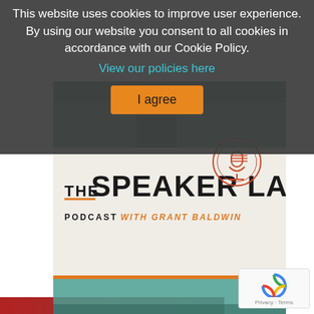This website uses cookies to improve user experience. By using our website you consent to all cookies in accordance with our Cookie Policy.
View our policies here
I agree
[Figure (logo): The Speaker Lab Podcast with Grant Baldwin podcast cover art. Teal toned image of a speaker on stage with audience, overlaid with podcast branding: 'THE SPEAKER LAB' in bold black text with a microphone logo in an orange circle, 'PODCAST WITH GRANT BALDWIN' subtitle, orange accent bar.]
[Figure (other): Google reCAPTCHA widget with spinning logo and 'Privacy - Terms' text.]